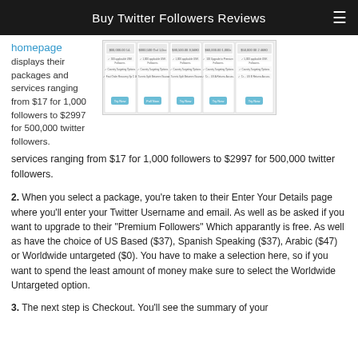Buy Twitter Followers Reviews
homepage displays their packages and services ranging from $17 for 1,000 followers to $2997 for 500,000 twitter followers.
[Figure (screenshot): Screenshot of a website's package pricing table showing multiple columns of follower packages with 'Try Now' buttons.]
2. When you select a package, you're taken to their Enter Your Details page where you'll enter your Twitter Username and email. As well as be asked if you want to upgrade to their "Premium Followers" Which apparantly is free. As well as have the choice of US Based ($37), Spanish Speaking ($37), Arabic ($47) or Worldwide untargeted ($0). You have to make a selection here, so if you want to spend the least amount of money make sure to select the Worldwide Untargeted option.
3. The next step is Checkout. You'll see the summary of your